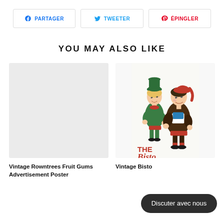[Figure (infographic): Three social share buttons: PARTAGER (Facebook, blue), TWEETER (Twitter, blue bird), ÉPINGLER (Pinterest, red logo)]
YOU MAY ALSO LIKE
[Figure (photo): Left product card: blank/gray rectangle placeholder image for Vintage Rowntrees Fruit Gums Advertisement Poster]
Vintage Rowntrees Fruit Gums Advertisement Poster
[Figure (photo): Right product card: vintage illustration of two cartoon characters (The Bisto Kids) — a girl in green and a boy in red hat, looking upward. Text 'THE' and partial word 'Bisto' in red at bottom.]
Vintage Bisto
[Figure (other): Dark rounded chat bubble overlay reading 'Discuter avec nous']